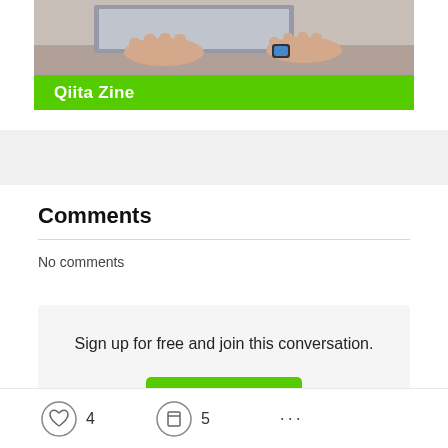[Figure (photo): Partial photo of hands on a laptop with a green 'Qiita Zine' banner overlay at the bottom]
Comments
No comments
Sign up for free and join this conversation.
Sign Up
4  5  ...